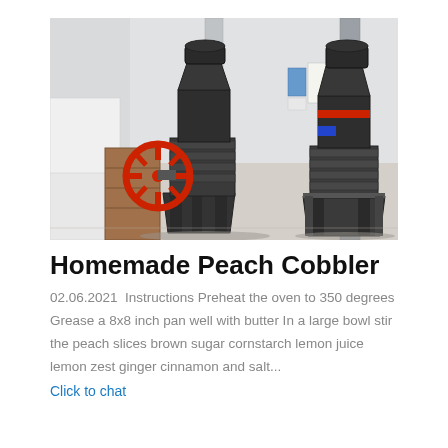[Figure (photo): Industrial cone crusher machines in a factory or showroom setting. A large black cone crusher with a prominent red flywheel/pulley is in the center-left. A second cone crusher machine is visible on the right. Factory floor with concrete walls and columns visible in the background.]
Homemade Peach Cobbler
02.06.2021  Instructions Preheat the oven to 350 degrees Grease a 8x8 inch pan well with butter In a large bowl stir the peach slices brown sugar cornstarch lemon juice lemon zest ginger cinnamon and salt...
Click to chat